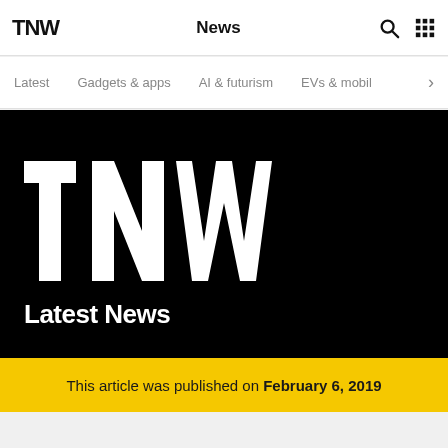TNW — News
Latest
Gadgets & apps
AI & futurism
EVs & mobil
[Figure (logo): TNW large white logo on black background with 'Latest News' text below]
This article was published on February 6, 2019